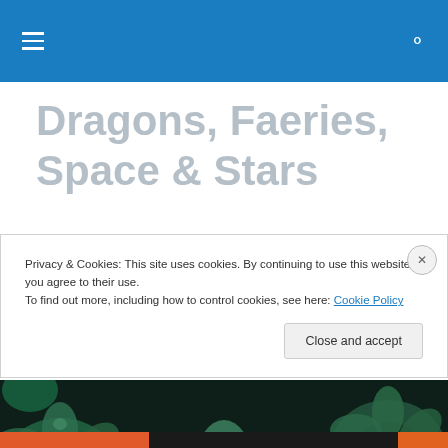Navigation bar with hamburger menu and search icon
Dragons, Faeries, Space & Stars
writing thoughts of L.A. Christensen
[Figure (photo): Close-up photograph of dark green succulent plants with rosette shapes]
Privacy & Cookies: This site uses cookies. By continuing to use this website, you agree to their use.
To find out more, including how to control cookies, see here: Cookie Policy
Close and accept